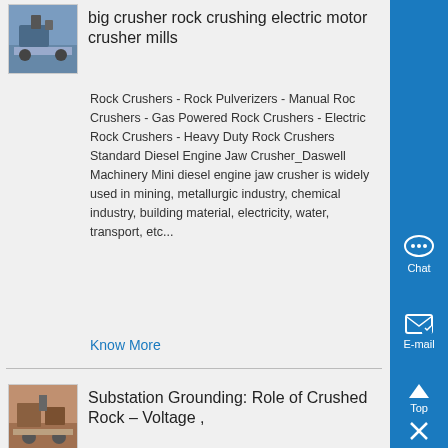[Figure (photo): Thumbnail photo of a crusher/mining facility]
big crusher rock crushing electric motor crusher mills
Rock Crushers - Rock Pulverizers - Manual Rock Crushers - Gas Powered Rock Crushers - Electric Rock Crushers - Heavy Duty Rock Crushers Standard Diesel Engine Jaw Crusher_Daswell Machinery Mini diesel engine jaw crusher is widely used in mining, metallurgic industry, chemical industry, building material, electricity, water, transport, etc...
Know More
[Figure (photo): Thumbnail photo of a crushing/substation site]
Substation Grounding: Role of Crushed Rock – Voltage ,
24-05-2020· Since there is very little current in the layer with crushed rock, the surface voltage (step, touch potential) will be negligible This is the basic idea behind using crushed rock in